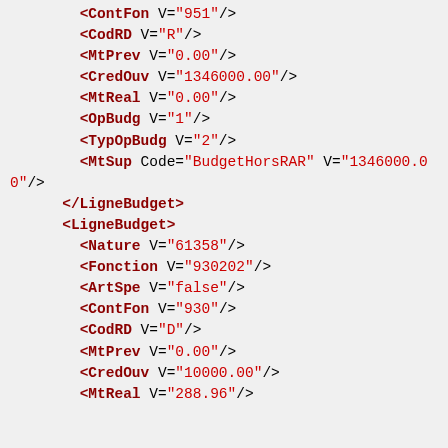XML code snippet showing budget line items including ContFon, CodRD, MtPrev, CredOuv, MtReal, OpBudg, TypOpBudg, MtSup elements followed by LigneBudget blocks with Nature, Fonction, ArtSpe, ContFon, CodRD, MtPrev, CredOuv, MtReal fields